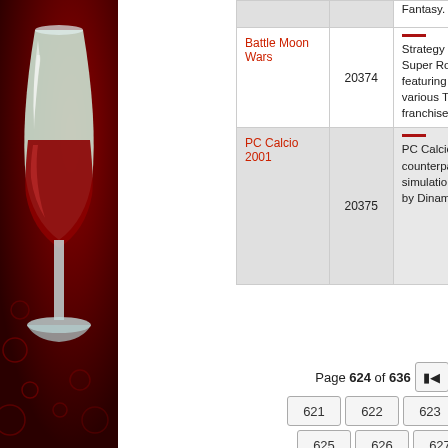[Figure (illustration): Wine glass with red wine on dark red/maroon decorative background panel on the left side of the page]
| Name | ID | Description |
| --- | --- | --- |
|  |  | Fantasy... |
| Battle Moon Wars | 20374 | Strategy game in the style of Super Robot Wars, but featuring characters from various Type-Moon franchises. |
| PC Calcio 2001 | 20375 | PC Calcio is the italian counterpart of the football simulation game "PC Futbol" by Dinamic Multimedia. |
Page 624 of 636
621 622 623 624 625 626 627